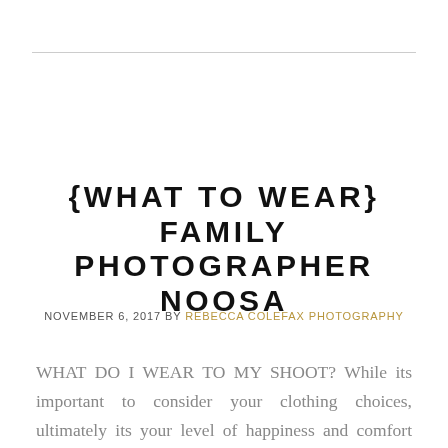{WHAT TO WEAR} FAMILY PHOTOGRAPHER NOOSA
NOVEMBER 6, 2017 by REBECCA COLEFAX PHOTOGRAPHY
WHAT DO I WEAR TO MY SHOOT? While its important to consider your clothing choices, ultimately its your level of happiness and comfort that really ...